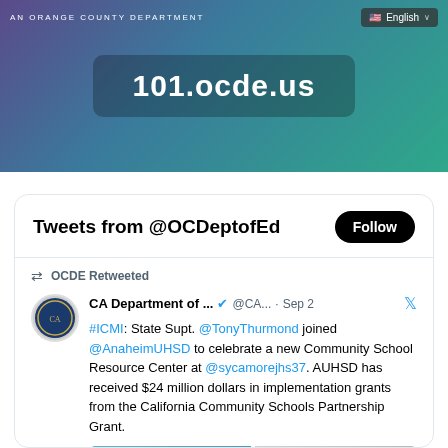[Figure (screenshot): Orange County Department website banner with gradient background (purple to teal), showing 'AN ORANGE COUNTY DEPARTMENT' text, English language selector, and URL box displaying '101.ocde.us']
Tweets from @OCDeptofEd
Follow
OCDE Retweeted
CA Department of ... @CA... · Sep 2
#ICMI: State Supt. @TonyThurmond joined @AnaheimUHSD to celebrate a new Community School Resource Center at @sycamorejhs37. AUHSD has received $24 million dollars in implementation grants from the California Community Schools Partnership Grant.